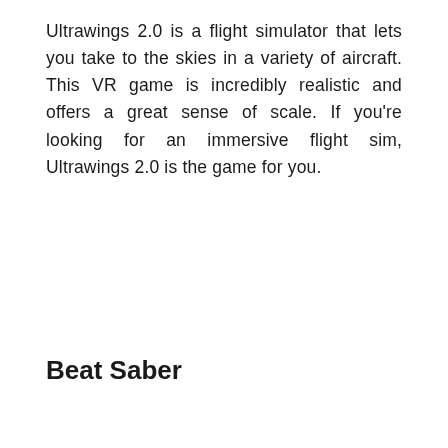Ultrawings 2.0 is a flight simulator that lets you take to the skies in a variety of aircraft. This VR game is incredibly realistic and offers a great sense of scale. If you're looking for an immersive flight sim, Ultrawings 2.0 is the game for you.
Beat Saber